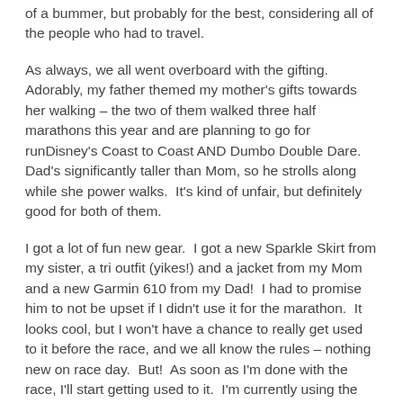of a bummer, but probably for the best, considering all of the people who had to travel.
As always, we all went overboard with the gifting. Adorably, my father themed my mother's gifts towards her walking – the two of them walked three half marathons this year and are planning to go for runDisney's Coast to Coast AND Dumbo Double Dare. Dad's significantly taller than Mom, so he strolls along while she power walks. It's kind of unfair, but definitely good for both of them.
I got a lot of fun new gear. I got a new Sparkle Skirt from my sister, a tri outfit (yikes!) and a jacket from my Mom and a new Garmin 610 from my Dad! I had to promise him to not be upset if I didn't use it for the marathon. It looks cool, but I won't have a chance to really get used to it before the race, and we all know the rules – nothing new on race day. But! As soon as I'm done with the race, I'll start getting used to it. I'm currently using the 305, and the 610 is much more streamlined. And he got me one in pretty colors too. I'll have a review of it coming up in a couple of weeks, I'm sure.
Unfortunately, we've also been sharing around some illness this holiday. Mom's had a sinus infection and Dad's got a pretty bad virus. As of this writing, I'm healthy